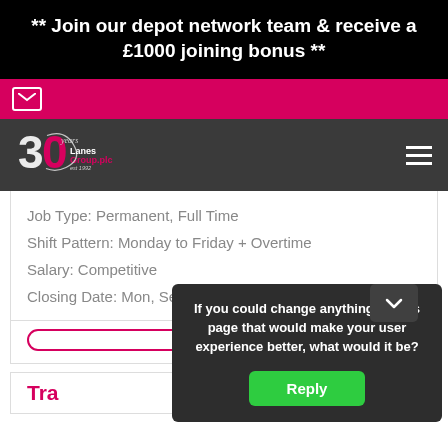** Join our depot network team & receive a £1000 joining bonus **
[Figure (logo): Lanes Group plc 30 years logo on dark navigation bar]
Job Type: Permanent, Full Time
Shift Pattern: Monday to Friday + Overtime
Salary: Competitive
Closing Date: Mon, Sep 5, 2022
If you could change anything on this page that would make your user experience better, what would it be?
Reply
Tra